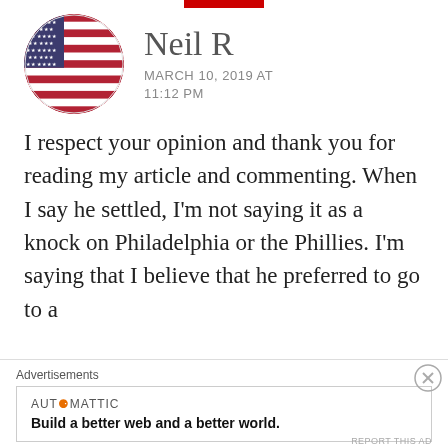[Figure (illustration): Circular avatar showing the American flag (USA flag with stars and stripes)]
Neil R
MARCH 10, 2019 AT 11:12 PM
I respect your opinion and thank you for reading my article and commenting. When I say he settled, I’m not saying it as a knock on Philadelphia or the Phillies. I’m saying that I believe that he preferred to go to a
Advertisements
AUTOMATTIC
Build a better web and a better world.